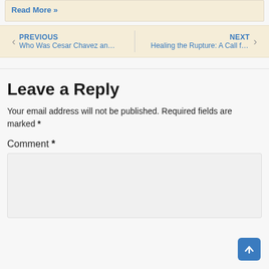Read More »
PREVIOUS
Who Was Cesar Chavez and Why Is He i…
NEXT
Healing the Rupture: A Call for the Rest…
Leave a Reply
Your email address will not be published. Required fields are marked *
Comment *